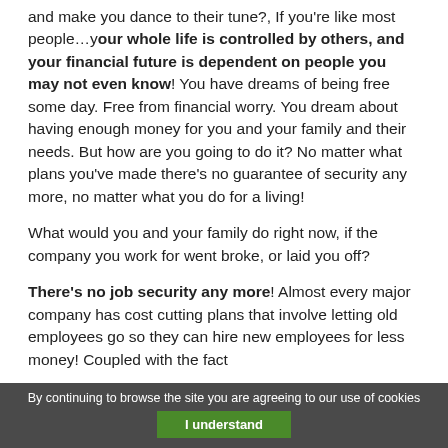and make you dance to their tune?, If you're like most people…your whole life is controlled by others, and your financial future is dependent on people you may not even know! You have dreams of being free some day. Free from financial worry. You dream about having enough money for you and your family and their needs. But how are you going to do it? No matter what plans you've made there's no guarantee of security any more, no matter what you do for a living!
What would you and your family do right now, if the company you work for went broke, or laid you off?
There's no job security any more! Almost every major company has cost cutting plans that involve letting old employees go so they can hire new employees for less money! Coupled with the fact
By continuing to browse the site you are agreeing to our use of cookies